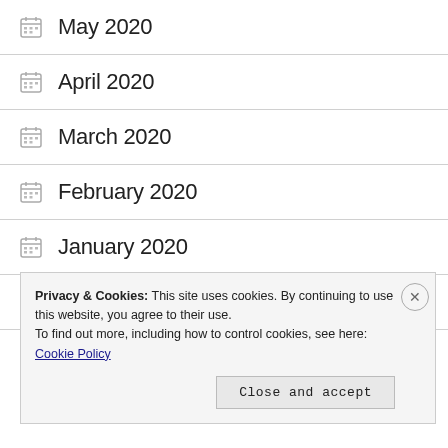May 2020
April 2020
March 2020
February 2020
January 2020
September 2019
August 2019 (partial)
Privacy & Cookies: This site uses cookies. By continuing to use this website, you agree to their use.
To find out more, including how to control cookies, see here: Cookie Policy
Close and accept